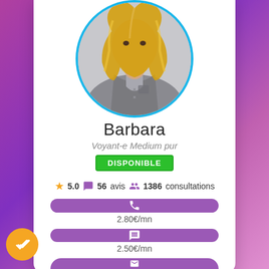[Figure (photo): Circular profile photo of a blonde woman wearing a grey linen shirt, with a teal/blue circular border]
Barbara
Voyant-e Medium pur
DISPONIBLE
5.0  56 avis  1386 consultations
2.80€/mn
2.50€/mn